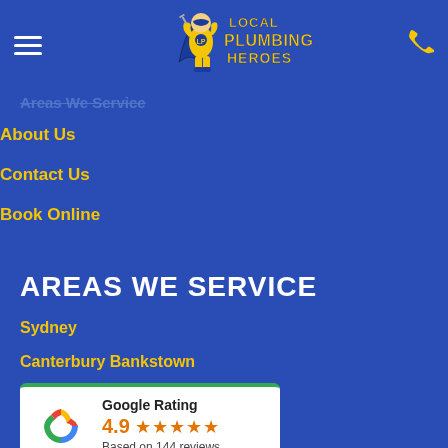[Figure (logo): Local Plumbing Heroes logo with superhero plumber mascot in yellow costume and blue text on blue background header]
Areas We Service
About Us
Contact Us
Book Online
AREAS WE SERVICE
Sydney
Canterbury Bankstown
[Figure (other): Google Rating widget showing 4.9 stars based on 144 reviews with Google G logo]
City Of Liverpool